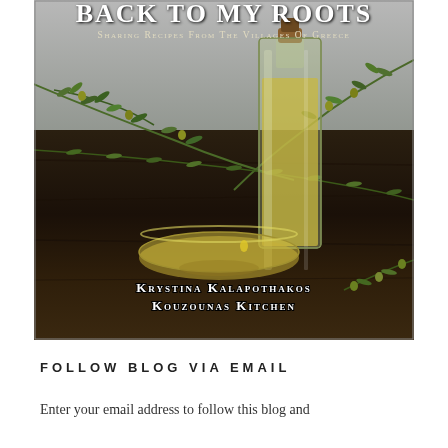[Figure (photo): Book cover for 'Back To My Roots: Sharing Recipes From The Villages Of Greece' by Krystina Kalapothakos – Kouzounas Kitchen. Shows a glass bottle of olive oil and a shallow bowl of olive oil on a dark wooden surface surrounded by olive branches with green olives.]
FOLLOW BLOG VIA EMAIL
Enter your email address to follow this blog and